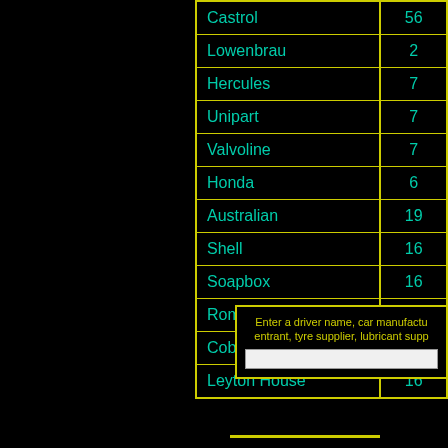| Name | Count |
| --- | --- |
| Castrol | 56 |
| Lowenbrau | 2 |
| Hercules | 7 |
| Unipart | 7 |
| Valvoline | 7 |
| Honda | 6 |
| Australian | 19 |
| Shell | 16 |
| Soapbox | 16 |
| Rombo | 3 |
| Cobra | 16 |
| Leyton House | 16 |
Enter a driver name, car manufacturer, entrant, tyre supplier, lubricant supp...